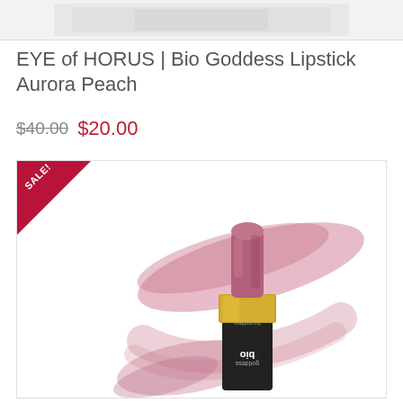[Figure (photo): Partial view of a product image at the top of the page, cropped — appears to be a cosmetic product packaging on a light grey/white background.]
EYE of HORUS | Bio Goddess Lipstick Aurora Peach
$40.00 $20.00
[Figure (photo): Product image of EYE of HORUS Bio Goddess Lipstick in Aurora Peach shade. Shows a lipstick bullet extended from a black and gold tube, set against a mauve/dusty rose color swatch smear background. A red triangular SALE badge is in the top-left corner of the image card. The lipstick tube is black with gold accents and 'bio goddess' text.]